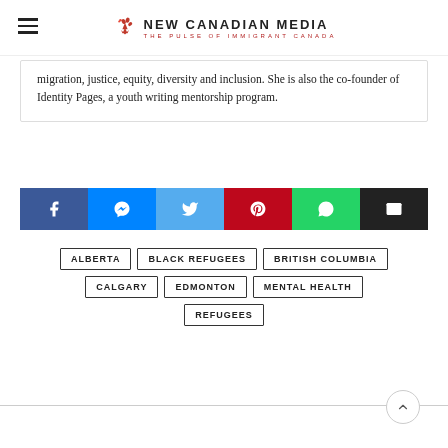New Canadian Media — The Pulse of Immigrant Canada
migration, justice, equity, diversity and inclusion. She is also the co-founder of Identity Pages, a youth writing mentorship program.
[Figure (infographic): Social share buttons: Facebook, Messenger, Twitter, Pinterest, WhatsApp, Email]
ALBERTA
BLACK REFUGEES
BRITISH COLUMBIA
CALGARY
EDMONTON
MENTAL HEALTH
REFUGEES